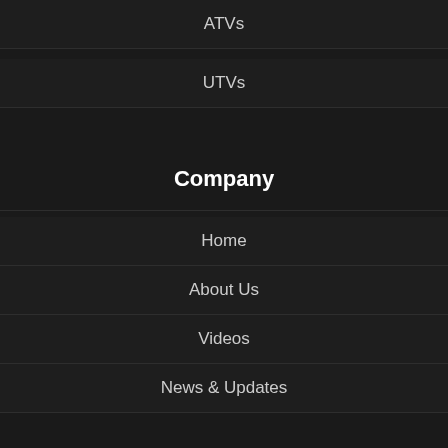ATVs
UTVs
Company
Home
About Us
Videos
News & Updates
Helpful Links
FAQ